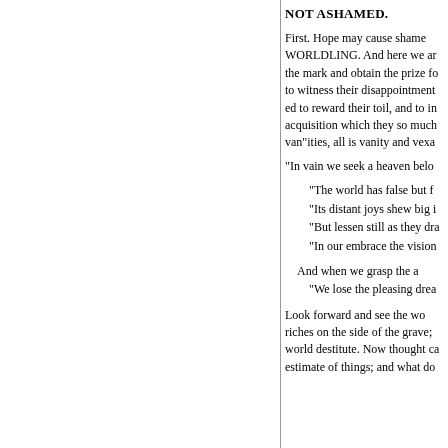NOT ASHAMED.
First. Hope may cause shame WORLDLING. And here we ar the mark and obtain the prize fo to witness their disappointment ed to reward their toil, and to in acquisition which they so much van"ities, all is vanity and vexa
"In vain we seek a heaven belo
"The world has false but f
"Its distant joys shew big i
"But lessen still as they dra
"In our embrace the vision
And when we grasp the a
"We lose the pleasing drea
Look forward and see the wo riches on the side of the grave; world destitute. Now thought ca estimate of things; and what do